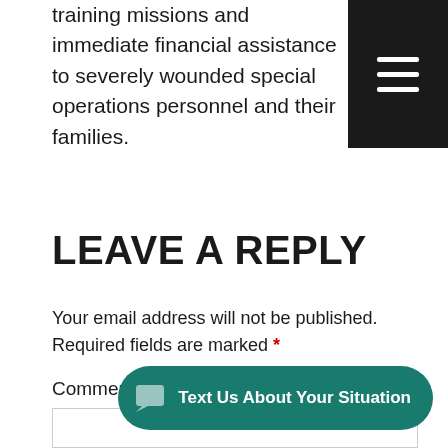training missions and immediate financial assistance to severely wounded special operations personnel and their families.
[Figure (other): Black hamburger menu button (three horizontal white lines on black background)]
LEAVE A REPLY
Your email address will not be published. Required fields are marked *
Comment *
[Figure (other): Teal rounded button with chat icon and text: Text Us About Your Situation]